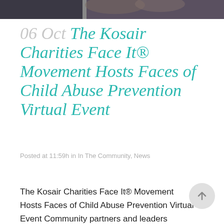[Figure (photo): Top strip showing two people in dark clothing, partially cropped]
06 Oct The Kosair Charities Face It® Movement Hosts Faces of Child Abuse Prevention Virtual Event
Posted at 11:59h in In The Community, News
The Kosair Charities Face It® Movement Hosts Faces of Child Abuse Prevention Virtual Event Community partners and leaders